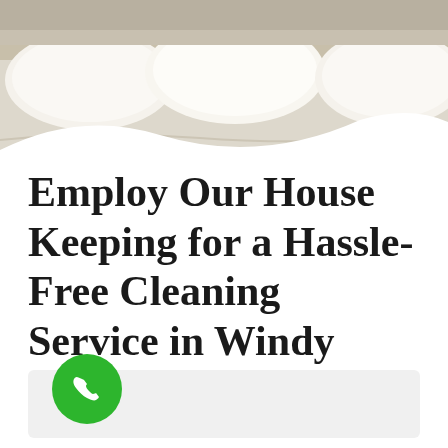[Figure (photo): Photo of a neatly made bed with white/cream pillows and bedding, seen from above/angle, forming the top banner of the page.]
Employ Our House Keeping for a Hassle-Free Cleaning Service in Windy Arbour
[Figure (other): Light gray rounded rectangle content area placeholder below the title.]
[Figure (other): Green circular phone/call button icon at the bottom left.]